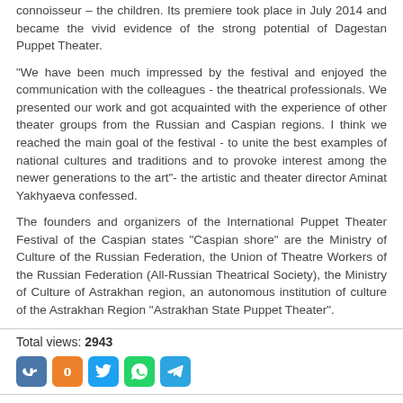connoisseur – the children. Its premiere took place in July 2014 and became the vivid evidence of the strong potential of Dagestan Puppet Theater.
"We have been much impressed by the festival and enjoyed the communication with the colleagues - the theatrical professionals. We presented our work and got acquainted with the experience of other theater groups from the Russian and Caspian regions. I think we reached the main goal of the festival - to unite the best examples of national cultures and traditions and to provoke interest among the newer generations to the art"- the artistic and theater director Aminat Yakhyaeva confessed.
The founders and organizers of the International Puppet Theater Festival of the Caspian states "Caspian shore" are the Ministry of Culture of the Russian Federation, the Union of Theatre Workers of the Russian Federation (All-Russian Theatrical Society), the Ministry of Culture of Astrakhan region, an autonomous institution of culture of the Astrakhan Region "Astrakhan State Puppet Theater".
Total views: 2943
[Figure (other): Social media sharing icons: VK, OK, Twitter, WhatsApp, Telegram]
OTHER NEWS